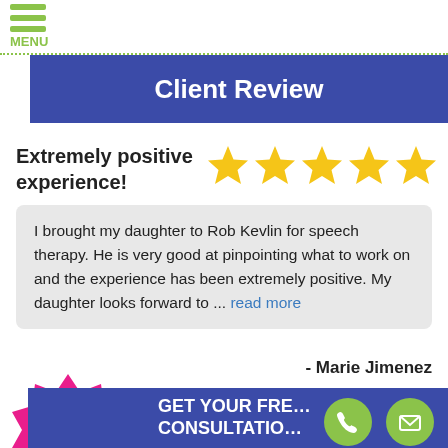Silver Voice Treatment - LSVT
Client Review
Extremely positive experience!
[Figure (illustration): Five gold star rating icons]
I brought my daughter to Rob Kevlin for speech therapy. He is very good at pinpointing what to work on and the experience has been extremely positive. My daughter looks forward to ... read more
- Marie Jimenez
[Figure (illustration): Online Teletherapy Available starburst badge in pink]
GET YOUR FREE CONSULTATION